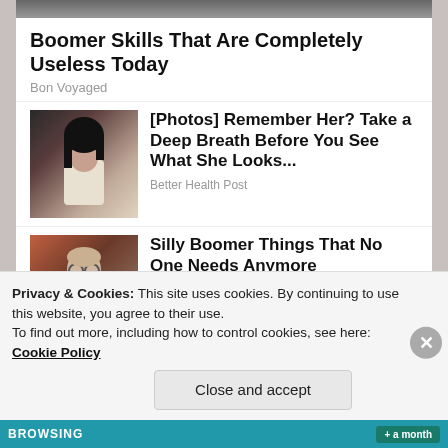[Figure (photo): Partial top image, cropped at top of page]
Boomer Skills That Are Completely Useless Today
Bon Voyaged
[Figure (photo): Photo of a dark-haired woman in white jacket]
[Photos] Remember Her? Take a Deep Breath Before You See What She Looks...
Better Health Post
[Figure (photo): Photo of an older man with glasses in brown jacket]
Silly Boomer Things That No One Needs Anymore
Bon Voyaged
Privacy & Cookies: This site uses cookies. By continuing to use this website, you agree to their use.
To find out more, including how to control cookies, see here: Cookie Policy
Close and accept